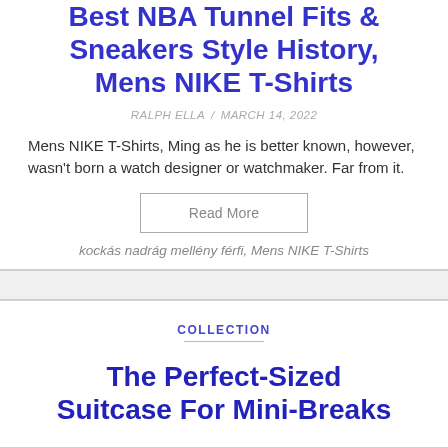Best NBA Tunnel Fits & Sneakers Style History, Mens NIKE T-Shirts
RALPH ELLA  /  MARCH 14, 2022
Mens NIKE T-Shirts, Ming as he is better known, however, wasn't born a watch designer or watchmaker. Far from it.
Read More
kockás nadrág mellény férfi, Mens NIKE T-Shirts
COLLECTION
The Perfect-Sized Suitcase For Mini-Breaks